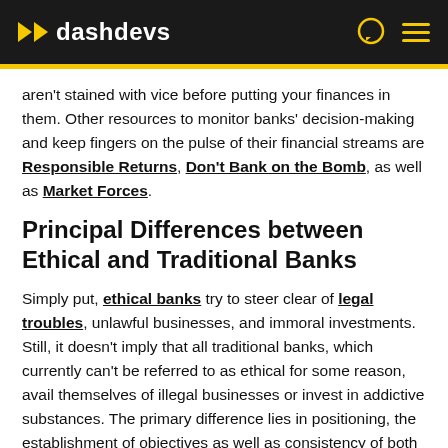dashdevs
aren't stained with vice before putting your finances in them. Other resources to monitor banks' decision-making and keep fingers on the pulse of their financial streams are Responsible Returns, Don't Bank on the Bomb, as well as Market Forces.
Principal Differences between Ethical and Traditional Banks
Simply put, ethical banks try to steer clear of legal troubles, unlawful businesses, and immoral investments. Still, it doesn't imply that all traditional banks, which currently can't be referred to as ethical for some reason, avail themselves of illegal businesses or invest in addictive substances. The primary difference lies in positioning, the establishment of objectives as well as consistency of both internal and external ethics.